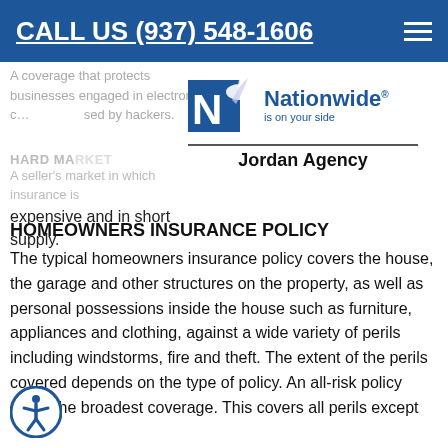CALL US (937) 548-1606
A coverage that protects businesses engaged in electronic commerce from losses caused by hackers.
[Figure (logo): Nationwide 'is on your side' logo with eagle graphic, above a horizontal line and 'Jordan Agency' text]
HARD MARKET
A seller's market in which insurance is expensive and in short supply.
HOMEOWNERS INSURANCE POLICY
The typical homeowners insurance policy covers the house, the garage and other structures on the property, as well as personal possessions inside the house such as furniture, appliances and clothing, against a wide variety of perils including windstorms, fire and theft. The extent of the perils covered depends on the type of policy. An all-risk policy offers the broadest coverage. This covers all perils except